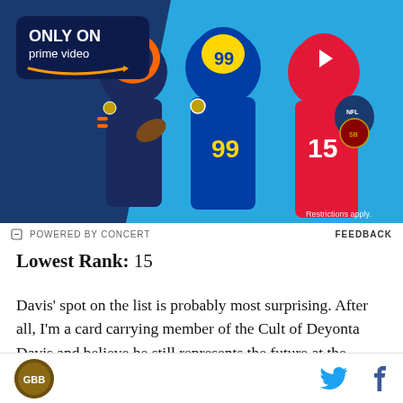[Figure (photo): Amazon Prime Video advertisement showing NFL players in action — a Bengals quarterback, LA Rams #99, and Chiefs #15 Patrick Mahomes — on a blue background with 'ONLY ON prime video' logo box and 'Restrictions apply.' text in the bottom-right corner.]
POWERED BY CONCERT   FEEDBACK
Lowest Rank: 15
Davis' spot on the list is probably most surprising. After all, I'm a card carrying member of the Cult of Deyonta Davis and believe he still represents the future at the center position for the post-Gasol Grizzlies. So why is
[Site logo] [Twitter icon] [Facebook icon]